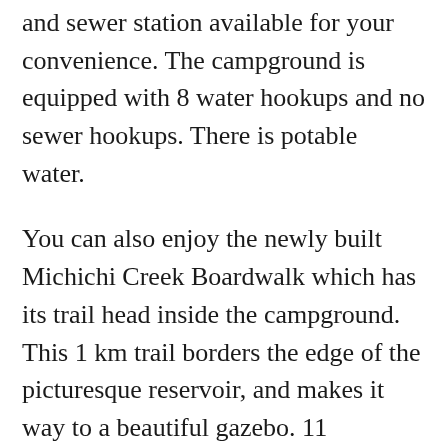and sewer station available for your convenience. The campground is equipped with 8 water hookups and no sewer hookups. There is potable water.
You can also enjoy the newly built Michichi Creek Boardwalk which has its trail head inside the campground. This 1 km trail borders the edge of the picturesque reservoir, and makes it way to a beautiful gazebo. 11 interpretive signs highlight information about the area including flora, fauna, geology, history and more.
Michichi Dam Recreation Area is stocked with fish on a fairly annual basis. In 2011, there were 14,000 rainbow trout, with an average length of 14 cm, stocked in the dam. Home of the Ryan Savary Memorial Fishing Derby